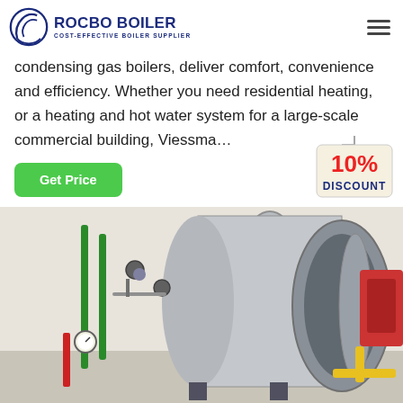ROCBO BOILER - COST-EFFECTIVE BOILER SUPPLIER
condensing gas boilers, deliver comfort, convenience and efficiency. Whether you need residential heating, or a heating and hot water system for a large-scale commercial building, Viessma…
Get Price
[Figure (photo): Industrial gas boiler system with silver cylindrical tank, green and red pipes, valves, gauges and yellow gas connections in a boiler room]
[Figure (infographic): 10% DISCOUNT badge hanging sign in red and blue text]